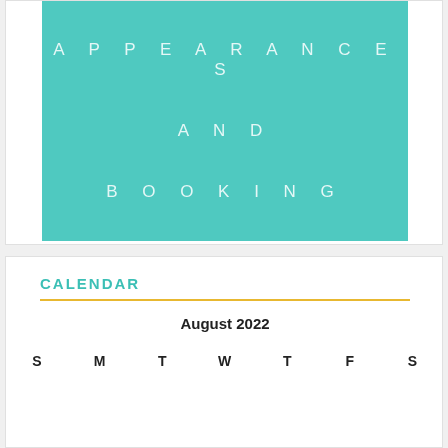[Figure (illustration): Teal/turquoise rectangle with white spaced uppercase text reading APPEARANCES AND BOOKING on three lines]
CALENDAR
August 2022
| S | M | T | W | T | F | S |
| --- | --- | --- | --- | --- | --- | --- |